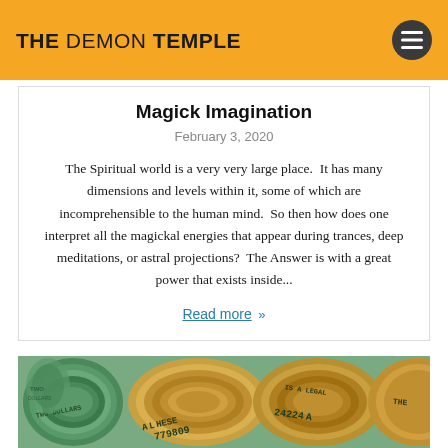THE DEMON TEMPLE
Magick Imagination
February 3, 2020
The Spiritual world is a very very large place.  It has many dimensions and levels within it, some of which are incomprehensible to the human mind.  So then how does one interpret all the magickal energies that appear during trances, deep meditations, or astral projections?  The Answer is with a great power that exists inside...
Read more »
[Figure (photo): Rolled US dollar bills photographed close up, showing serial numbers including 779809 and 24224A]